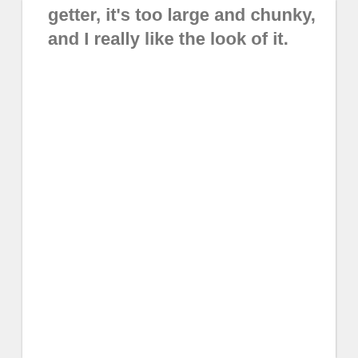getter, it's too large and chunky, and I really like the look of it.